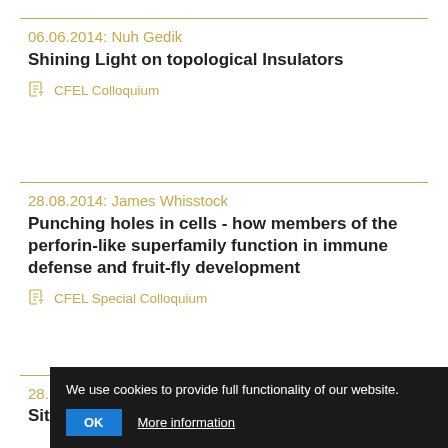06.06.2014: Nuh Gedik
Shining Light on topological Insulators
CFEL Colloquium
28.08.2014: James Whisstock
Punching holes in cells - how members of the perforin-like superfamily function in immune defense and fruit-fly development
CFEL Special Colloquium
28.
Site- and orbital-dependent charge and spin...
We use cookies to provide full functionality of our website.
OK    More information